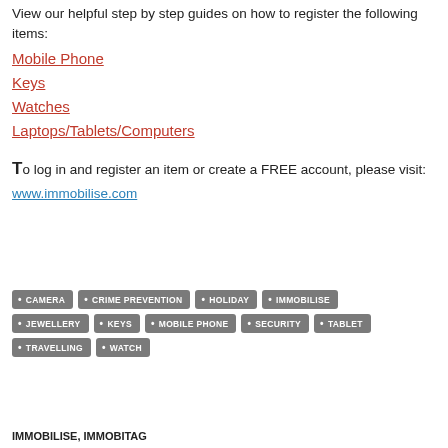View our helpful step by step guides on how to register the following items:
Mobile Phone
Keys
Watches
Laptops/Tablets/Computers
To log in and register an item or create a FREE account, please visit:
www.immobilise.com
[Figure (infographic): Tag cloud with grey pill-shaped tags: CAMERA, CRIME PREVENTION, HOLIDAY, IMMOBILISE, JEWELLERY, KEYS, MOBILE PHONE, SECURITY, TABLET, TRAVELLING, WATCH]
IMMOBILISE, IMMOBITAG